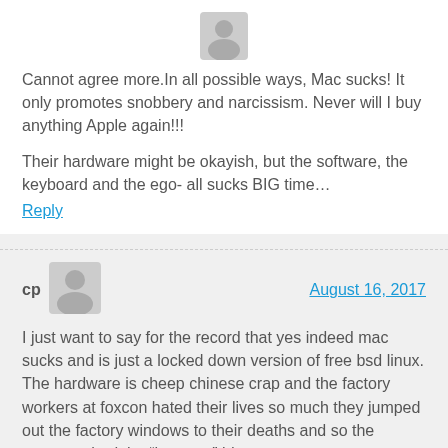[Figure (illustration): Gray silhouette avatar icon of a person, partially visible at top of page]
Cannot agree more.In all possible ways, Mac sucks! It only promotes snobbery and narcissism. Never will I buy anything Apple again!!!
Their hardware might be okayish, but the software, the keyboard and the ego- all sucks BIG time…
Reply
cp
[Figure (illustration): Gray silhouette avatar icon of a person]
August 16, 2017
I just want to say for the record that yes indeed mac sucks and is just a locked down version of free bsd linux. The hardware is cheep chinese crap and the factory workers at foxcon hated their lives so much they jumped out the factory windows to their deaths and so the company had the “humane” idea to put up